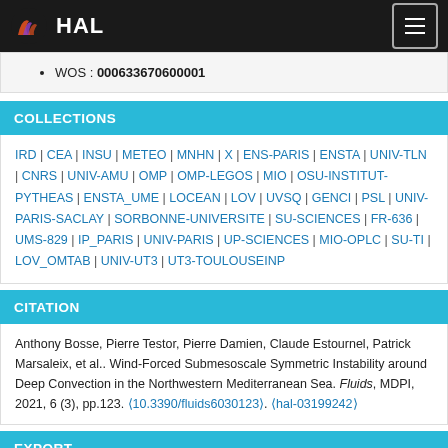HAL
WOS : 000633670600001
COLLECTIONS
IRD | CEA | INSU | METEO | MNHN | X | ENS-PARIS | ENSTA | UNIV-TLN | CNRS | UNIV-AMU | OMP | OMP-LEGOS | MIO | OSU-INSTITUT-PYTHEAS | ENSTA_UME | LOCEAN | LOV | UVSQ | GENCI | PSL | UNIV-PARIS-SACLAY | SORBONNE-UNIVERSITE | SU-SCIENCES | FR-636 | UMS-829 | IP_PARIS | UNIV-PARIS | UP-SCIENCES | MIO-OPLC | SU-TI | LOV_OMTAB | UNIV-UT3 | UT3-TOULOUSEINP
CITATION
Anthony Bosse, Pierre Testor, Pierre Damien, Claude Estournel, Patrick Marsaleix, et al.. Wind-Forced Submesoscale Symmetric Instability around Deep Convection in the Northwestern Mediterranean Sea. Fluids, MDPI, 2021, 6 (3), pp.123. (10.3390/fluids6030123). (hal-03199242)
EXPORT
BibTeX | TEI | DC | DCterms | EndNote | Datacite